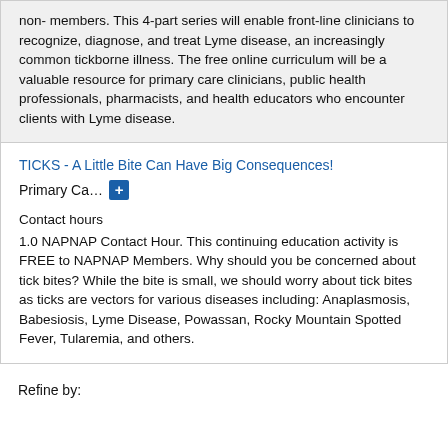non-members. This 4-part series will enable front-line clinicians to recognize, diagnose, and treat Lyme disease, an increasingly common tickborne illness. The free online curriculum will be a valuable resource for primary care clinicians, public health professionals, pharmacists, and health educators who encounter clients with Lyme disease.
TICKS - A Little Bite Can Have Big Consequences!
Primary Ca...
Contact hours
1.0 NAPNAP Contact Hour. This continuing education activity is FREE to NAPNAP Members. Why should you be concerned about tick bites? While the bite is small, we should worry about tick bites as ticks are vectors for various diseases including: Anaplasmosis, Babesiosis, Lyme Disease, Powassan, Rocky Mountain Spotted Fever, Tularemia, and others.
Refine by: